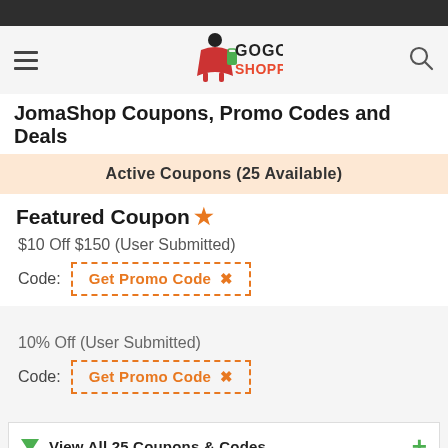[Figure (logo): GoGoShopper.com logo with stylized shopper figure and colorful text]
JomaShop Coupons, Promo Codes and Deals
Active Coupons (25 Available)
Featured Coupon ★
$10 Off $150 (User Submitted)
Code: Get Promo Code ✂
10% Off (User Submitted)
Code: Get Promo Code ✂
View All 25 Coupons & Codes